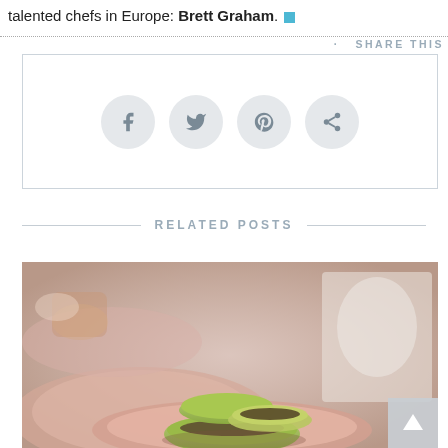talented chefs in Europe: Brett Graham. ■
[Figure (infographic): Share this social media buttons section with Facebook, Twitter, Pinterest, and share icons in grey circles, with 'SHARE THIS' label at top right, dotted border top, solid border box]
RELATED POSTS
[Figure (photo): Photo of green macarons on a pink plate with other desserts in a blurred background, pastel tones. A scroll-to-top button is visible in the bottom right corner.]